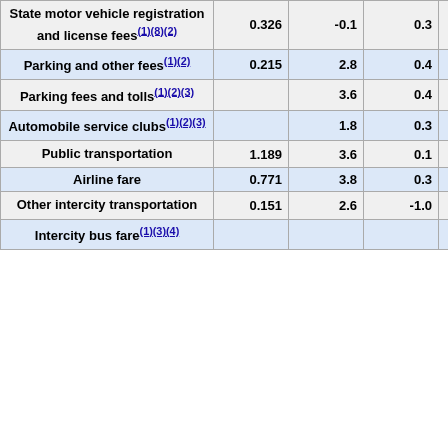| Item | Col1 | Col2 | Col3 | Col4 |
| --- | --- | --- | --- | --- |
| State motor vehicle registration and license fees(1)(8)(2) | 0.326 | -0.1 | 0.3 | 0.0 |
| Parking and other fees(1)(2) | 0.215 | 2.8 | 0.4 | 0.0 |
| Parking fees and tolls(1)(2)(3) |  | 3.6 | 0.4 | 0.0 |
| Automobile service clubs(1)(2)(3) |  | 1.8 | 0.3 | -0.2 |
| Public transportation | 1.189 | 3.6 | 0.1 | 0.6 |
| Airline fare | 0.771 | 3.8 | 0.3 | 0.9 |
| Other intercity transportation | 0.151 | 2.6 | -1.0 | -0.6 |
| Intercity bus fare(1)(3)(4) |  |  |  | 1.0 |